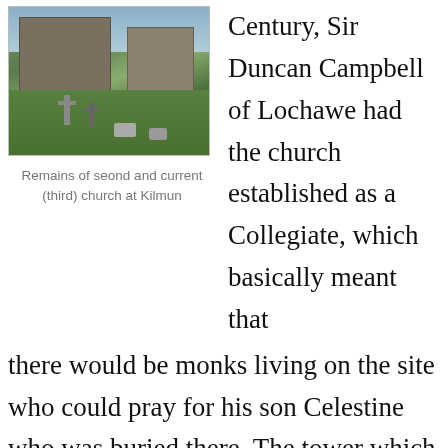[Figure (photo): Photograph of remains of second and current (third) church at Kilmun, showing stone buildings, graves, crosses and green grounds]
Remains of seond and current (third) church at Kilmun
Century, Sir Duncan Campbell of Lochawe had the church established as a Collegiate, which basically meant that there would be monks living on the site who could pray for his son Celestine who was buried there. The tower which you can see on the right-hand side of the current church in this picture housed the monks' living quarters. Celestine wasn't supposed to be
there would be monks living on the site who could pray for his son Celestine who was buried there. The tower which you can see on the right-hand side of the current church in this picture housed the monks' living quarters. Celestine wasn't supposed to be